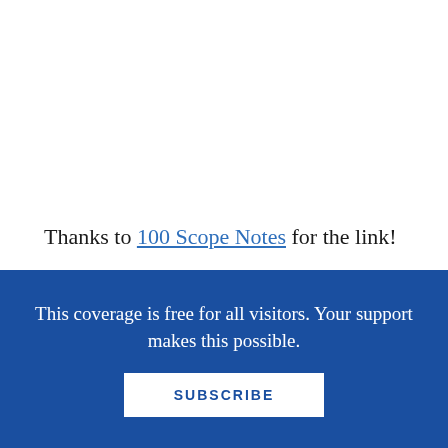Thanks to 100 Scope Notes for the link!

I do a regular Storytime Suggestion series on this blog where I read aloud a good book for a toddler or preschooler storytime.  Someone once asked if this was a copyright violation, and I don't think that it is.  If
This coverage is free for all visitors. Your support makes this possible.
SUBSCRIBE